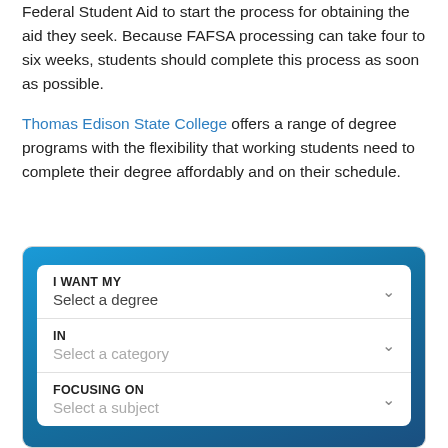Federal Student Aid to start the process for obtaining the aid they seek. Because FAFSA processing can take four to six weeks, students should complete this process as soon as possible.
Thomas Edison State College offers a range of degree programs with the flexibility that working students need to complete their degree affordably and on their schedule.
[Figure (screenshot): A web widget with a blue gradient background containing a white card form with three dropdown fields: 'I WANT MY / Select a degree', 'IN / Select a category', and 'FOCUSING ON / Select a subject'.]